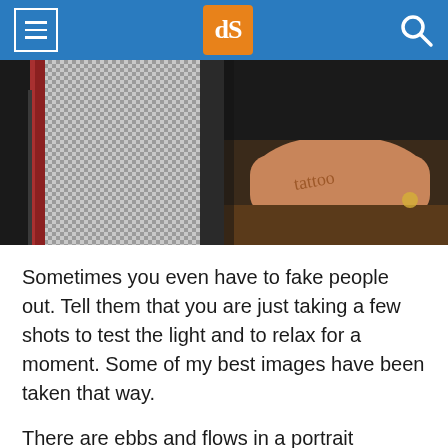dPS header with hamburger menu, logo, and search icon
[Figure (photo): Two-panel photograph: left panel shows a woman in a checkered/houndstooth dress near a red surface; right panel shows a tattooed arm resting on a dark wooden table.]
Sometimes you even have to fake people out. Tell them that you are just taking a few shots to test the light and to relax for a moment. Some of my best images have been taken that way.
There are ebbs and flows in a portrait session. Sometimes it makes you feel like a boxer,